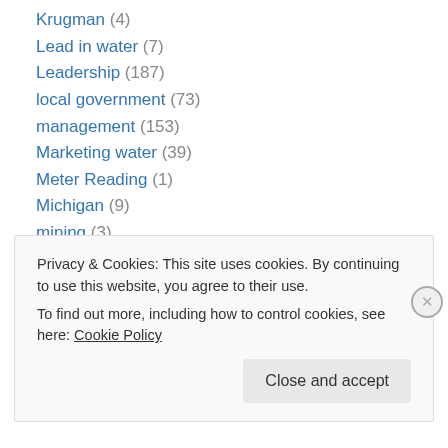Krugman (4)
Lead in water (7)
Leadership (187)
local government (73)
management (153)
Marketing water (39)
Meter Reading (1)
Michigan (9)
mining (3)
Monitoring Water (7)
ocean (1)
oil and gas (1)
parks (1)
Privacy & Cookies: This site uses cookies. By continuing to use this website, you agree to their use. To find out more, including how to control cookies, see here: Cookie Policy
Close and accept